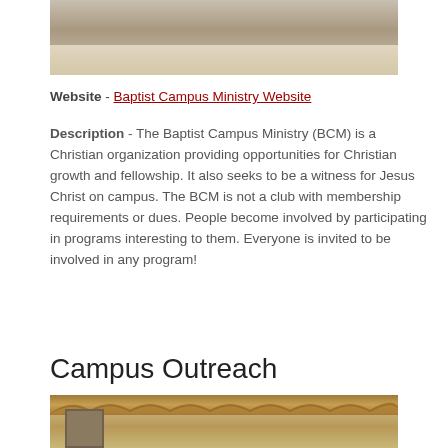[Figure (photo): Group of people standing on a sandy beach, photo cropped to show lower bodies and feet in sand]
Website - Baptist Campus Ministry Website
Description - The Baptist Campus Ministry (BCM) is a Christian organization providing opportunities for Christian growth and fellowship. It also seeks to be a witness for Jesus Christ on campus. The BCM is not a club with membership requirements or dues. People become involved by participating in programs interesting to them. Everyone is invited to be involved in any program!
Campus Outreach
[Figure (photo): Interior room photo showing ornate curtains/drapes and a framed picture on the wall, with people partially visible]